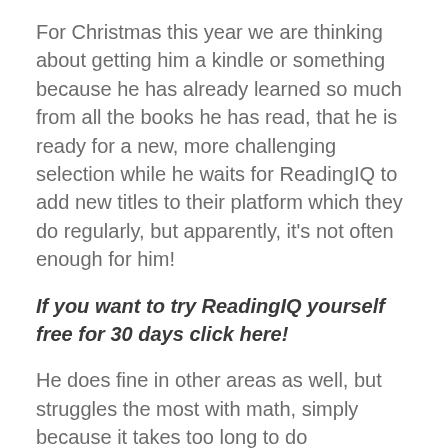For Christmas this year we are thinking about getting him a kindle or something because he has already learned so much from all the books he has read, that he is ready for a new, more challenging selection while he waits for ReadingIQ to add new titles to their platform which they do regularly, but apparently, it's not often enough for him!
If you want to try ReadingIQ yourself free for 30 days click here!
He does fine in other areas as well, but struggles the most with math, simply because it takes too long to do sometimes. He would rather read an entire book than do a single multiplication problem or so, but we hope to